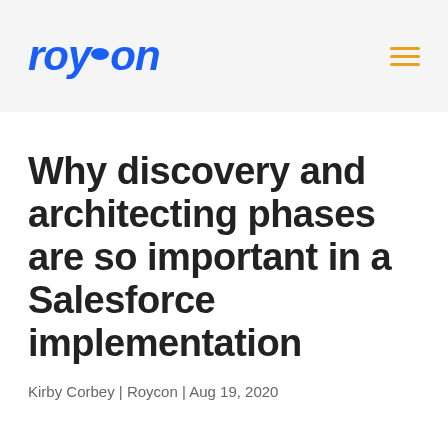roycon
Why discovery and architecting phases are so important in a Salesforce implementation
Kirby Corbey | Roycon | Aug 19, 2020